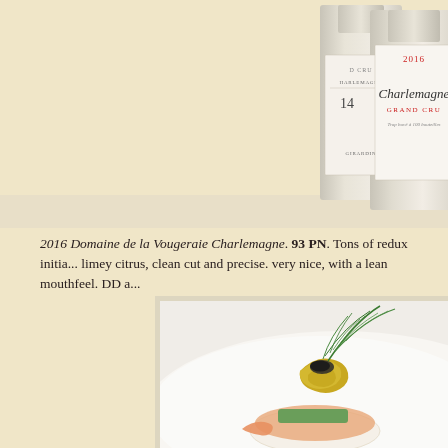[Figure (photo): Photo of multiple wine bottles of Charlemagne Grand Cru, partially cropped, showing labels with text including '2016', 'Charlemagne', 'Grand Cru', 'HARLEMAGNE', 'GIRARDIN']
2016 Domaine de la Vougeraie Charlemagne. 93 PN. Tons of redux initia... limey citrus, clean cut and precise. very nice, with a lean mouthfeel. DD a...
[Figure (photo): Close-up photo of a gourmet food dish featuring what appears to be sushi or similar fine dining appetizer with gold leaf garnish, green herbs, and seafood on a white plate]